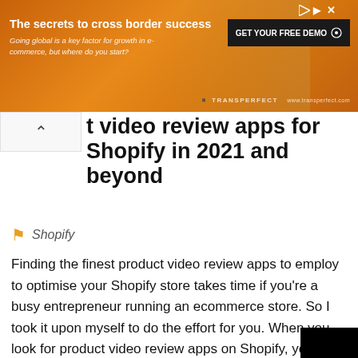[Figure (photo): Orange advertisement banner for TransPerfect: 'The secrets to cross border success' with 'GET YOUR FREE DEMO' button and close icons]
t video review apps for Shopify in 2021 and beyond
Shopify
Finding the finest product video review apps to employ to optimise your Shopify store takes time if you're a busy entrepreneur running an ecommerce store. So I took it upon myself to do the effort for you. When you look for product video review apps on Shopify, you'll notice that there are a lot of them, so how do you know which ones are the best? These tools can assist you in collecting video reviews for your Shopify store in order to boost conversion rates. By looking at the app store ratings, the quantity of reviews, the update freq...